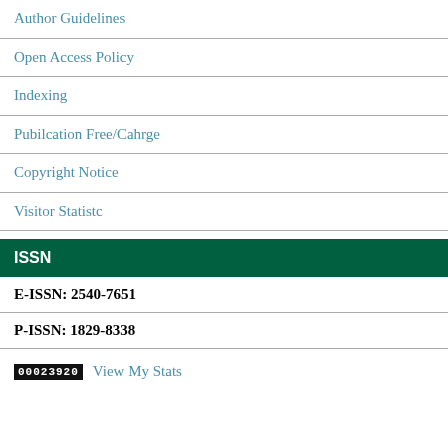Author Guidelines
Open Access Policy
Indexing
Pubilcation Free/Cahrge
Copyright Notice
Visitor Statistc
ISSN
E-ISSN: 2540-7651
P-ISSN: 1829-8338
00023920  View My Stats